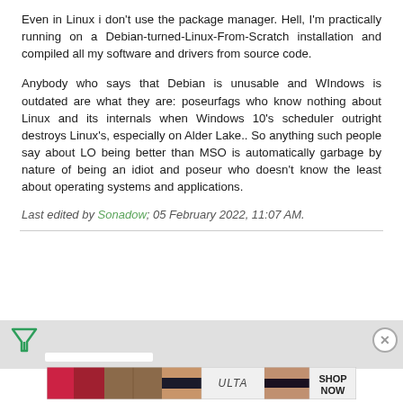Even in Linux i don't use the package manager. Hell, I'm practically running on a Debian-turned-Linux-From-Scratch installation and compiled all my software and drivers from source code.
Anybody who says that Debian is unusable and WIndows is outdated are what they are: poseurfags who know nothing about Linux and its internals when Windows 10's scheduler outright destroys Linux's, especially on Alder Lake.. So anything such people say about LO being better than MSO is automatically garbage by nature of being an idiot and poseur who doesn't know the least about operating systems and applications.
Last edited by Sonadow; 05 February 2022, 11:07 AM.
[Figure (other): Ad bar with filter/funnel icon on left, close (X) button on right, and a white progress bar element in the middle-bottom area]
[Figure (other): ULTA Beauty advertisement banner showing cosmetic product images (lipstick, makeup brush, eye makeup), ULTA logo, eye close-up image, and SHOP NOW text]